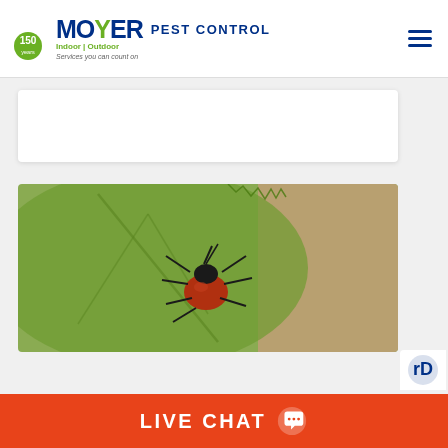Moyer Pest Control - Indoor | Outdoor - Services you can count on
[Figure (photo): Close-up photograph of a tick (red-brown body, dark legs) crawling on the edge of a green leaf with a blurred tan/brown background]
LIVE CHAT